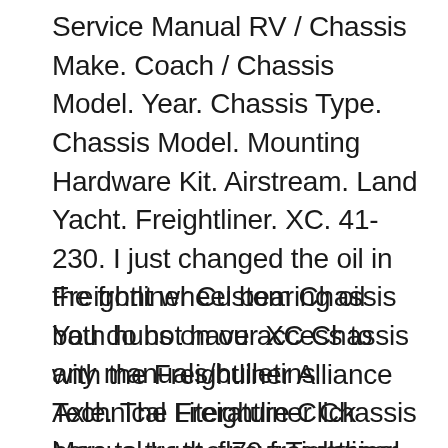Service Manual RV / Chassis Make. Coach / Chassis Model. Year. Chassis Type. Chassis Model. Mounting Hardware Kit. Airstream. Land Yacht. Freightliner. XC. 41-230. I just changed the oil in the front wheel bearing oil bath hubs on our XC Chassis with the Freightliner Alliance Axle. The Freightliner Chassis Manual I got. fl70 freightliner service manual freightliner fl70
Freightliner Custom Chassis You do not have access to any manuals/bulletins Technical Literature Click here to try the new Technical Literature homepage. English French Spanish. Drivers & Maintenance Manuals; Detroit Bulletins are currently located on a different site. Click this link to open Detroit Bulletins page. Documents. Document Types. Makes